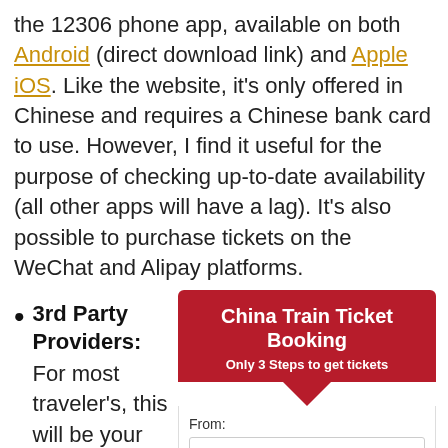the 12306 phone app, available on both Android (direct download link) and Apple iOS. Like the website, it's only offered in Chinese and requires a Chinese bank card to use. However, I find it useful for the purpose of checking up-to-date availability (all other apps will have a lag). It's also possible to purchase tickets on the WeChat and Alipay platforms.
3rd Party Providers: For most traveler's, this will be your only option but
[Figure (infographic): China Train Ticket Booking widget with red header, 'Only 3 Steps to get tickets' subtitle, downward pointing arrow, and a form with From: input and To: label]